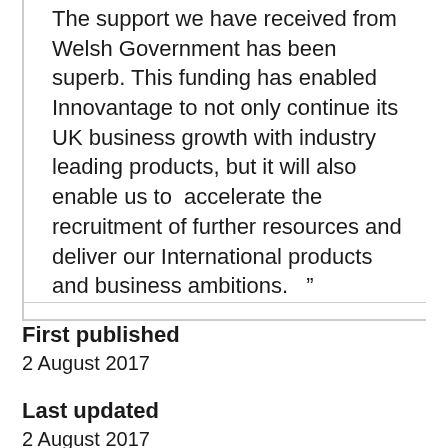The support we have received from Welsh Government has been superb. This funding has enabled Innovantage to not only continue its UK business growth with industry leading products, but it will also enable us to  accelerate the recruitment of further resources and deliver our International products and business ambitions.   "
First published
2 August 2017
Last updated
2 August 2017